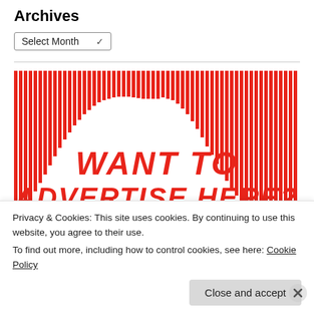Archives
Select Month
[Figure (illustration): Red and white advertisement banner with vertical red stripes forming an arch shape and bold red text reading WANT TO ADVERTISE HERE? with a wavy red line at the bottom]
Privacy & Cookies: This site uses cookies. By continuing to use this website, you agree to their use.
To find out more, including how to control cookies, see here: Cookie Policy
Close and accept